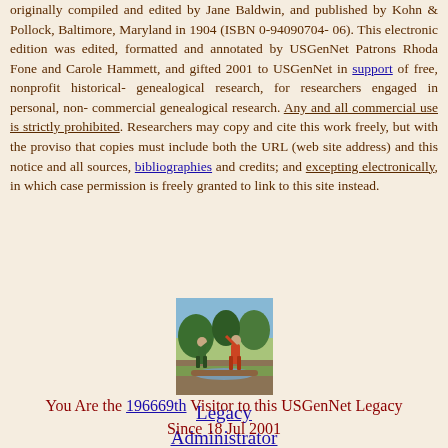originally compiled and edited by Jane Baldwin, and published by Kohn & Pollock, Baltimore, Maryland in 1904 (ISBN 0-94090704-06). This electronic edition was edited, formatted and annotated by USGenNet Patrons Rhoda Fone and Carole Hammett, and gifted 2001 to USGenNet in support of free, nonprofit historical-genealogical research, for researchers engaged in personal, non-commercial genealogical research. Any and all commercial use is strictly prohibited. Researchers may copy and cite this work freely, but with the proviso that copies must include both the URL (web site address) and this notice and all sources, bibliographies and credits; and excepting electronically, in which case permission is freely granted to link to this site instead.
[Figure (illustration): Illustration of two figures in a forest/outdoor scene, one in green clothing and one in red/orange clothing, appearing to be in motion near trees and water.]
Legacy Administrator
You Are the 196669th Visitor to this USGenNet Legacy Since 18 Jul 2001